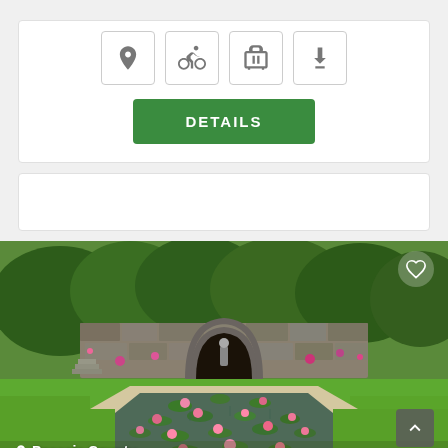[Figure (infographic): Row of four icon buttons: location pin, bicycle, suitcase/luggage, and tree icons in grey rounded square borders]
DETAILS
[Figure (photo): Garden photo showing a rectangular lily pond with pink water lilies and lily pads, stone archway in the background surrounded by lush green trees and shrubs, person standing near the arch. Heart icon overlay top right. Scroll-up button bottom right. Location label bottom left: Passaic County.]
Passaic County